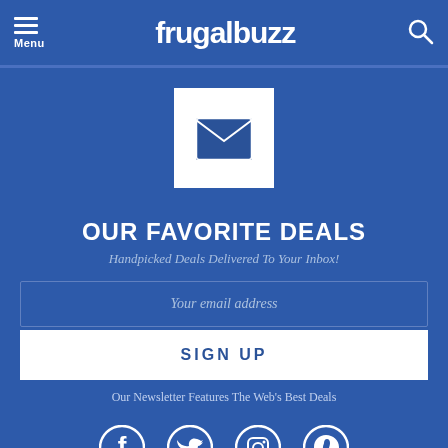frugalbuzz
[Figure (illustration): White envelope/mail icon on white square background]
OUR FAVORITE DEALS
Handpicked Deals Delivered To Your Inbox!
Your email address
SIGN UP
Our Newsletter Features The Web's Best Deals
[Figure (illustration): Social media icons row: Facebook, Twitter, Instagram, Pinterest]